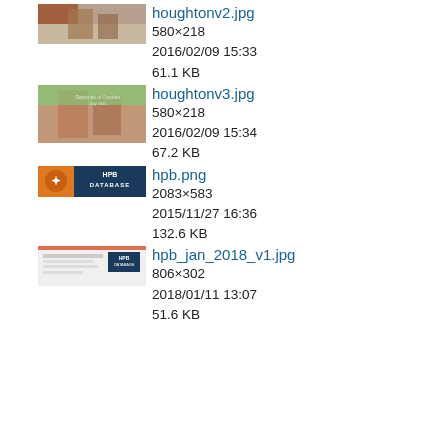houghtonv2.jpg
580×218
2016/02/09 15:33
61.1 KB
houghtonv3.jpg
580×218
2016/02/09 15:34
67.2 KB
hpb.png
2083×583
2015/11/27 16:36
132.6 KB
hpb_jan_2018_v1.jpg
806×302
2018/01/11 13:07
51.6 KB